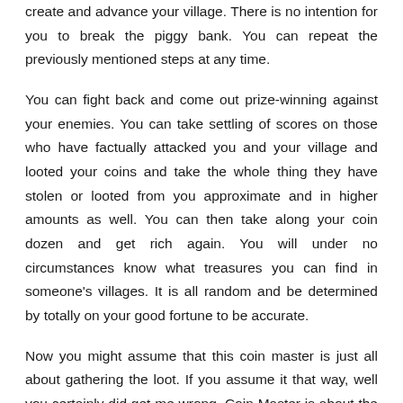create and advance your village. There is no intention for you to break the piggy bank. You can repeat the previously mentioned steps at any time.
You can fight back and come out prize-winning against your enemies. You can take settling of scores on those who have factually attacked you and your village and looted your coins and take the whole thing they have stolen or looted from you approximate and in higher amounts as well. You can then take along your coin dozen and get rich again. You will under no circumstances know what treasures you can find in someone's villages. It is all random and be determined by totally on your good fortune to be accurate.
Now you might assume that this coin master is just all about gathering the loot. If you assume it that way, well you certainly did get me wrong. Coin Master is about the treasures too! You will have to bring together all the cards to